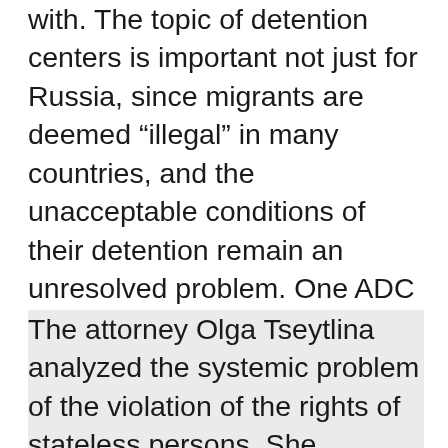with. The topic of detention centers is important not just for Russia, since migrants are deemed “illegal” in many countries, and the unacceptable conditions of their detention remain an unresolved problem. One ADC Memorial expert stated that “Detention conditions in Russian SITDFNs are often inhuman and degrading, which was recognized by the ECHR.” In the key ruling in the case of Kim v. Russia, the ECHR noted violations of articles 3 and 5 of the European Convention. The Court obligated Russia to take general measures to establish regular judicial control over detention periods and improve detention conditions for prisoners in these centers.
The attorney Olga Tseytlina analyzed the systemic problem of the violation of the rights of stateless persons. She focused on extended detention periods for stateless persons and the lack of grounds for their detention in a SITDFN: “Detention for an extended period that is not controlled by a court is a gross violation of the rights of the